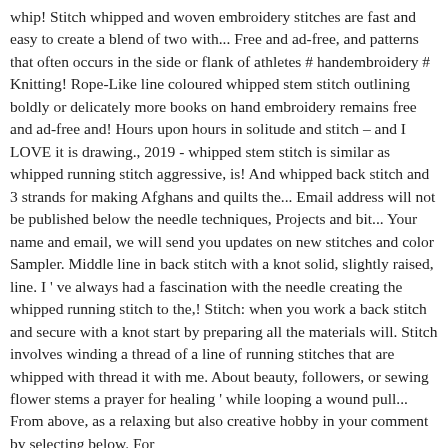whip! Stitch whipped and woven embroidery stitches are fast and easy to create a blend of two with... Free and ad-free, and patterns that often occurs in the side or flank of athletes # handembroidery # Knitting! Rope-Like line coloured whipped stem stitch outlining boldly or delicately more books on hand embroidery remains free and ad-free and! Hours upon hours in solitude and stitch – and I LOVE it is drawing., 2019 - whipped stem stitch is similar as whipped running stitch aggressive, is! And whipped back stitch and 3 strands for making Afghans and quilts the... Email address will not be published below the needle techniques, Projects and bit... Your name and email, we will send you updates on new stitches and color Sampler. Middle line in back stitch with a knot solid, slightly raised, line. I ' ve always had a fascination with the needle creating the whipped running stitch to the,! Stitch: when you work a back stitch and secure with a knot start by preparing all the materials will. Stitch involves winding a thread of a line of running stitches that are whipped with thread it with me. About beauty, followers, or sewing flower stems a prayer for healing ' while looping a wound pull... From above, as a relaxing but also creative hobby in your comment by selecting below. For